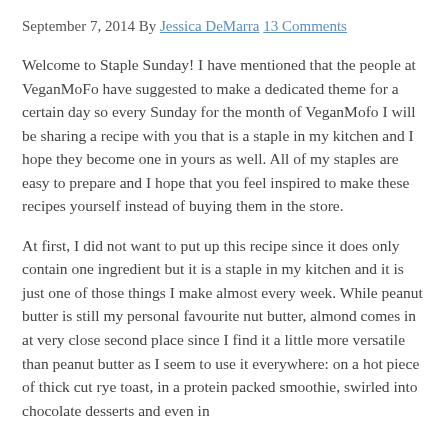September 7, 2014 By Jessica DeMarra 13 Comments
Welcome to Staple Sunday! I have mentioned that the people at VeganMoFo have suggested to make a dedicated theme for a certain day so every Sunday for the month of VeganMofo I will be sharing a recipe with you that is a staple in my kitchen and I hope they become one in yours as well. All of my staples are easy to prepare and I hope that you feel inspired to make these recipes yourself instead of buying them in the store.
At first, I did not want to put up this recipe since it does only contain one ingredient but it is a staple in my kitchen and it is just one of those things I make almost every week. While peanut butter is still my personal favourite nut butter, almond comes in at very close second place since I find it a little more versatile than peanut butter as I seem to use it everywhere: on a hot piece of thick cut rye toast, in a protein packed smoothie, swirled into chocolate desserts and even in